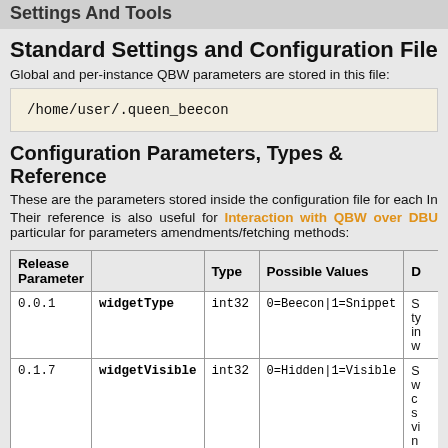Settings And Tools
Standard Settings and Configuration File
Global and per-instance QBW parameters are stored in this file:
/home/user/.queen_beecon
Configuration Parameters, Types & Reference
These are the parameters stored inside the configuration file for each In
Their reference is also useful for Interaction with QBW over DBU particular for parameters amendments/fetching methods:
| Release | Parameter | Type | Possible Values | D |
| --- | --- | --- | --- | --- |
| 0.0.1 | widgetType | int32 | 0=Beecon|1=Snippet | S ty in w |
| 0.1.7 | widgetVisible | int32 | 0=Hidden|1=Visible | S w c s v n |